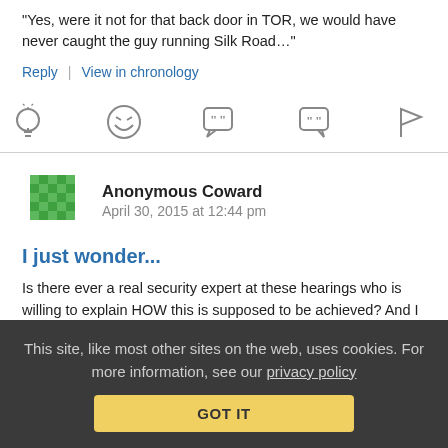“Yes, were it not for that back door in TOR, we would have never caught the guy running Silk Road…”
Reply | View in chronology
[Figure (other): Row of action icons: lightbulb, laughing face, quote bubble with 66, quote bubble with 99, flag]
Anonymous Coward  April 30, 2015 at 12:44 pm
I just wonder...
Is there ever a real security expert at these hearings who is willing to explain HOW this is supposed to be achieved? And I
This site, like most other sites on the web, uses cookies. For more information, see our privacy policy  GOT IT